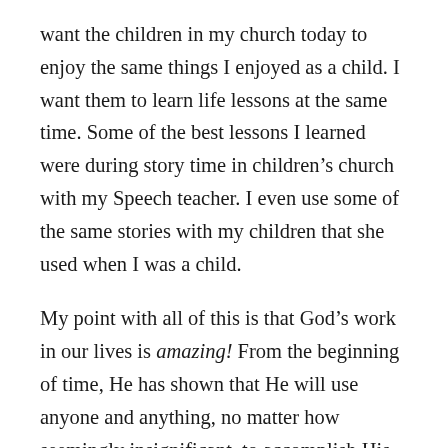want the children in my church today to enjoy the same things I enjoyed as a child. I want them to learn life lessons at the same time. Some of the best lessons I learned were during story time in children's church with my Speech teacher. I even use some of the same stories with my children that she used when I was a child.
My point with all of this is that God's work in our lives is amazing! From the beginning of time, He has shown that He will use anyone and anything, no matter how seemingly insignificant, to accomplish His purpose. Joseph was a shepherd boy who later became second in command under Pharoah. God used him to protect an entire nation from starvation. Ruth was a simple Moabite, but God chose her to be part of the Kingly line of Christ. Just as I have said over and over in my posts